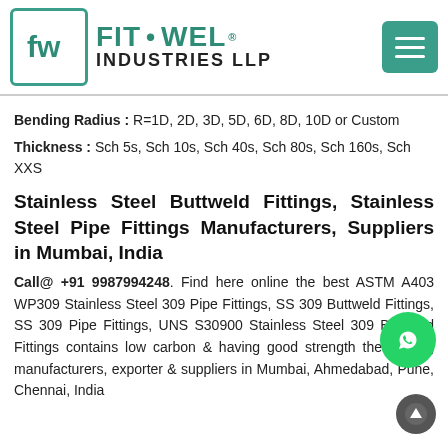[Figure (logo): Fit-Wel Industries LLP logo with teal border box containing 'fw' monogram and company name]
Bending Radius : R=1D, 2D, 3D, 5D, 6D, 8D, 10D or Custom
Thickness : Sch 5s, Sch 10s, Sch 40s, Sch 80s, Sch 160s, Sch XXS
Stainless Steel Buttweld Fittings, Stainless Steel Pipe Fittings Manufacturers, Suppliers in Mumbai, India
Call@ +91 9987994248. Find here online the best ASTM A403 WP309 Stainless Steel 309 Pipe Fittings, SS 309 Buttweld Fittings, SS 309 Pipe Fittings, UNS S30900 Stainless Steel 309 Buttweld Fittings contains low carbon & having good strength the leading manufacturers, exporter & suppliers in Mumbai, Ahmedabad, Pune, Chennai, India